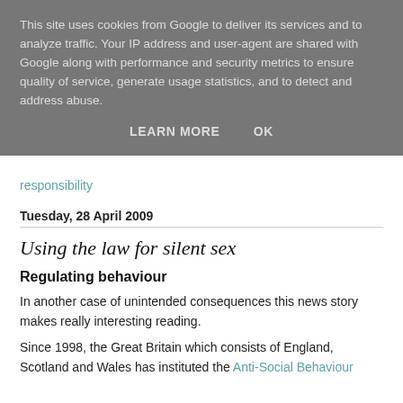This site uses cookies from Google to deliver its services and to analyze traffic. Your IP address and user-agent are shared with Google along with performance and security metrics to ensure quality of service, generate usage statistics, and to detect and address abuse.
LEARN MORE   OK
responsibility
Tuesday, 28 April 2009
Using the law for silent sex
Regulating behaviour
In another case of unintended consequences this news story makes really interesting reading.
Since 1998, the Great Britain which consists of England, Scotland and Wales has instituted the Anti-Social Behaviour